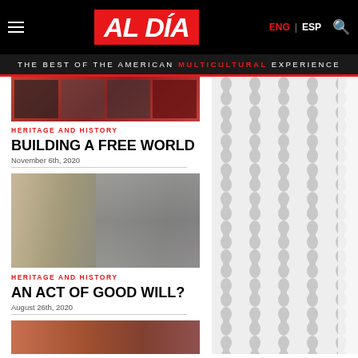AL DÍA — THE BEST OF THE AMERICAN MULTICULTURAL EXPERIENCE
[Figure (photo): Top article image showing exhibition posters on a red wall]
HERITAGE AND HISTORY
BUILDING A FREE WORLD
November 6th, 2020
[Figure (photo): Black and white historical photo of a man in military uniform]
HERITAGE AND HISTORY
AN ACT OF GOOD WILL?
August 26th, 2020
[Figure (photo): Third article image partially visible at bottom]